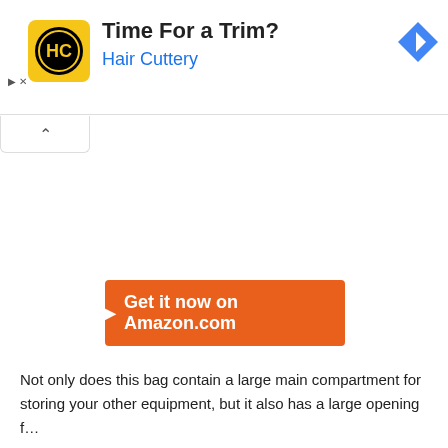[Figure (screenshot): Advertisement banner for Hair Cuttery with yellow logo, text 'Time For a Trim? Hair Cuttery', blue navigation diamond icon, and ad controls]
[Figure (screenshot): Orange button with text 'Get it now on Amazon.com']
Not only does this bag contain a large main compartment for storing your other equipment, but it also has a large opening f...